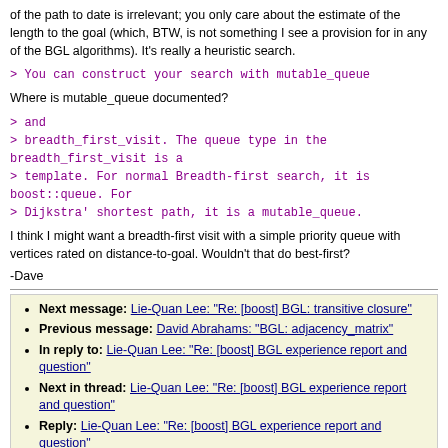of the path to date is irrelevant; you only care about the estimate of the length to the goal (which, BTW, is not something I see a provision for in any of the BGL algorithms). It's really a heuristic search.
> You can construct your search with mutable_queue
Where is mutable_queue documented?
> and
> breadth_first_visit. The queue type in the breadth_first_visit is a
> template. For normal Breadth-first search, it is boost::queue. For
> Dijkstra' shortest path, it is a mutable_queue.
I think I might want a breadth-first visit with a simple priority queue with vertices rated on distance-to-goal. Wouldn't that do best-first?
-Dave
Next message: Lie-Quan Lee: "Re: [boost] BGL: transitive closure"
Previous message: David Abrahams: "BGL: adjacency_matrix"
In reply to: Lie-Quan Lee: "Re: [boost] BGL experience report and question"
Next in thread: Lie-Quan Lee: "Re: [boost] BGL experience report and question"
Reply: Lie-Quan Lee: "Re: [boost] BGL experience report and question"
Date view | Thread view | Subject view | Author view
Boost list run by bdawes at acm.org, gregod at cs.rpi.edu, cpdaniel at pacbell.net, john at johnmaddock.co.uk